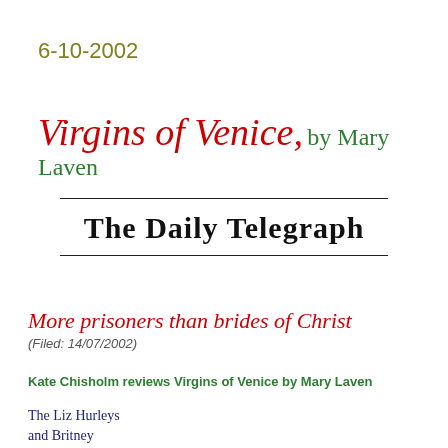6-10-2002
Virgins of Venice, by Mary Laven
[Figure (logo): The Daily Telegraph masthead logo with decorative blackletter typeface, flanked by horizontal rules above and below]
More prisoners than brides of Christ
(Filed: 14/07/2002)
Kate Chisholm reviews Virgins of Venice by Mary Laven
The Liz Hurleys and Britney Spears of this